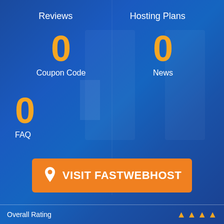Reviews
Hosting Plans
0
Coupon Code
0
News
0
FAQ
[Figure (infographic): Orange button with map pin icon and text VISIT FASTWEBHOST]
Overall Rating
[Figure (infographic): Orange star rating icons (4 stars visible)]